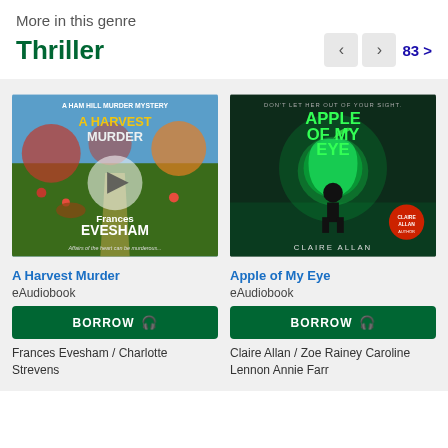More in this genre
Thriller
83 >
[Figure (illustration): Book cover for 'A Harvest Murder' by Frances Evesham – A Ham Hill Murder Mystery. Autumn orchard scene with text: 'Affairs of the heart can be murderous...']
[Figure (illustration): Book cover for 'Apple of My Eye' by Claire Allan. Dark teal background with glowing apple and text: 'Don't let her out of your sight.']
A Harvest Murder
eAudiobook
BORROW
Frances Evesham / Charlotte Strevens
Apple of My Eye
eAudiobook
BORROW
Claire Allan / Zoe Rainey Caroline Lennon Annie Farr